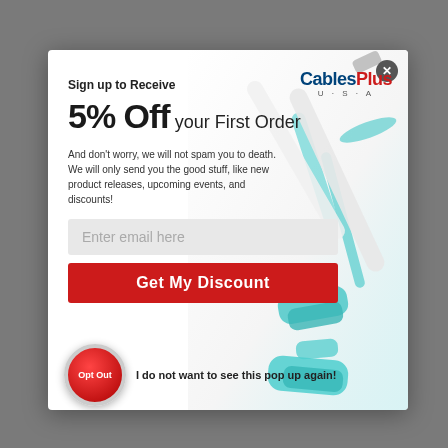[Figure (screenshot): Modal popup dialog on a gray background showing a CablesPlus USA promotional offer. Contains a close button (X), logo, heading, offer text, email input field, discount button, and opt-out button with cable product imagery.]
Sign up to Receive
5% Off your First Order
And don't worry, we will not spam you to death. We will only send you the good stuff, like new product releases, upcoming events, and discounts!
Enter email here
Get My Discount
I do not want to see this pop up again!